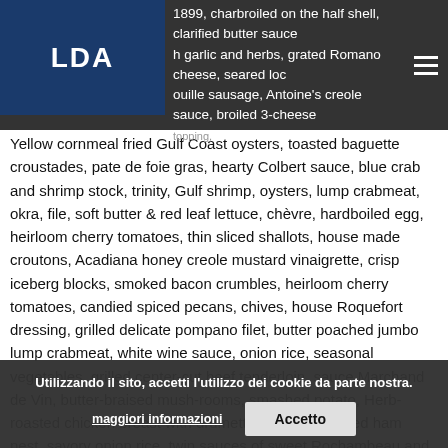LDA | 1899, charbroiled on the half shell, clarified butter sauce with garlic and herbs, grated Romano cheese, seared loca... bouille sausage, Antoine's creole sauce, broiled 3-cheese topping,
Yellow cornmeal fried Gulf Coast oysters, toasted baguette croustades, pate de foie gras, hearty Colbert sauce, blue crab and shrimp stock, trinity, Gulf shrimp, oysters, lump crabmeat, okra, file, soft butter & red leaf lettuce, chèvre, hardboiled egg, heirloom cherry tomatoes, thin sliced shallots, house made croutons, Acadiana honey creole mustard vinaigrette, crisp iceberg blocks, smoked bacon crumbles, heirloom cherry tomatoes, candied spiced pecans, chives, house Roquefort dressing, grilled delicate pompano filet, butter poached jumbo lump crabmeat, white wine sauce, onion rice, seasonal vegetables, grilled center-cut beef tenderloin, sauce Marchand de Vin, butter-braised mush-rooms, smashed potato, Herb-roasted chicken breast with drumette, shaved smoked ham nest, savory onion rice, twin sauces of sweet Rochambeau and tangy bearnaise, pineapple confit, large Gulf Shrimp, steamed rice, speckled butter beans, Antoine's creole sauce, crispy fried onion, freshest local fish available, breading, toasted almonds, brown butter, fresh lemon juice, sautéed lump crab meat $8, candied pecans, salted caramel, raspberry coulis,
Utilizzando il sito, accetti l'utilizzo dei cookie da parte nostra.
maggiori informazioni | Accetto